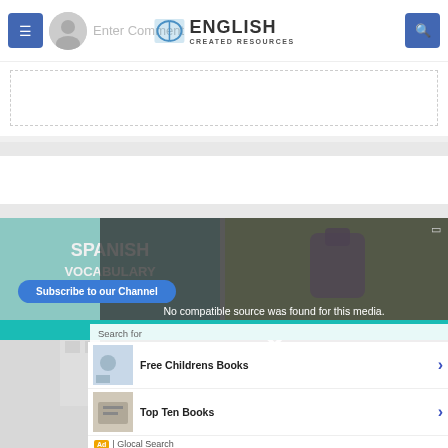ENGLISH CREATED RESOURCES
Enter Comment
[Figure (screenshot): Website screenshot of English Created Resources page with comment box, video media player showing 'No compatible source was found for this media.' overlay, subscribe button, and ads for Free Childrens Books and Top Ten Books]
No compatible source was found for this media.
Subscribe to our Channel
Search for
Free Childrens Books
Top Ten Books
Ad | Glocal Search